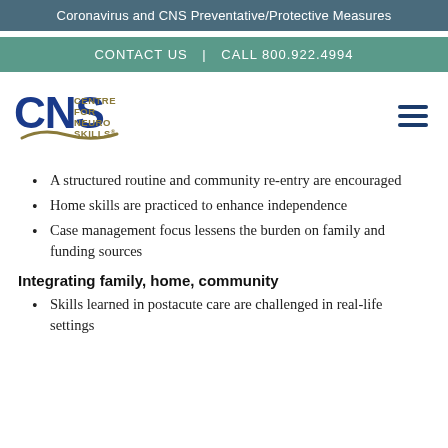Coronavirus and CNS Preventative/Protective Measures
CONTACT US | CALL 800.922.4994
[Figure (logo): CNS Centre for Neuro Skills logo with blue CNS letters and olive text]
A structured routine and community re-entry are encouraged
Home skills are practiced to enhance independence
Case management focus lessens the burden on family and funding sources
Integrating family, home, community
Skills learned in postacute care are challenged in real-life settings